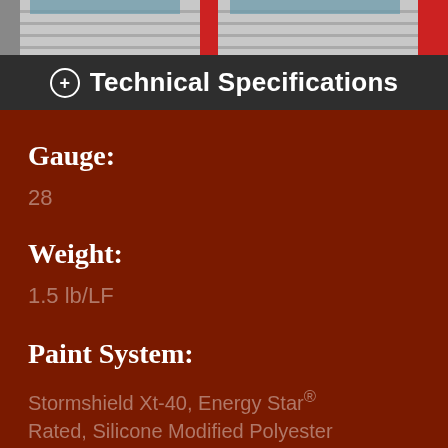[Figure (photo): Photograph of a building with garage doors, partially visible at the top of the page]
Technical Specifications
Gauge:
28
Weight:
1.5 lb/LF
Paint System:
Stormshield Xt-40, Energy Star® Rated, Silicone Modified Polyester